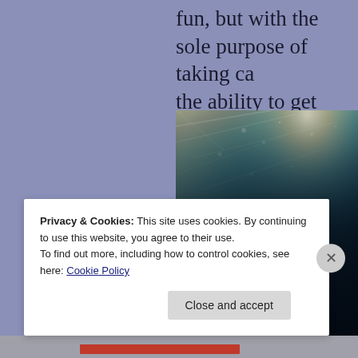fun, but with the sole purpose of taking ca… the ability to get bored together.
[Figure (photo): Underwater photo of two people holding hands, with light rays filtering down from the surface of the water above.]
Privacy & Cookies: This site uses cookies. By continuing to use this website, you agree to their use.
To find out more, including how to control cookies, see here: Cookie Policy
Close and accept